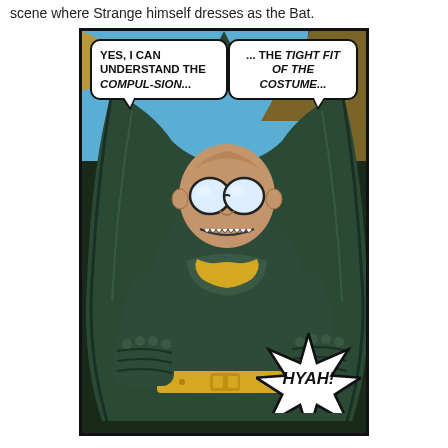scene where Strange himself dresses as the Bat.
[Figure (illustration): Comic book panel showing a bald villain dressed in a Batman-like dark green costume with yellow belt and bat symbol, wearing white goggle eyes, grimacing and lunging forward with fists raised. Speech bubbles read: 'YES, I CAN UNDERSTAND THE COMPUL-SION...' and '...THE TIGHT FIT OF THE COSTUME...' and 'HYAH!' at the bottom.]